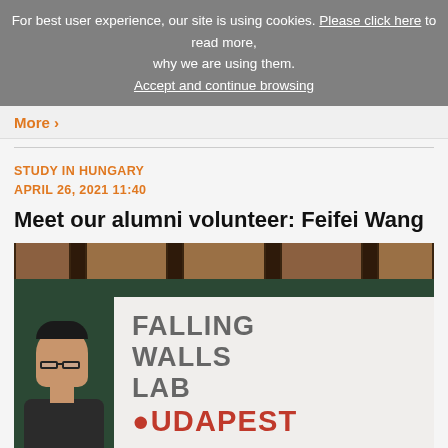For best user experience, our site is using cookies. Please click here to read more, why we are using them. Accept and continue browsing
More >
STUDY IN HUNGARY
APRIL 26, 2021 11:40
Meet our alumni volunteer: Feifei Wang
[Figure (photo): Photo of Feifei Wang standing in front of a Falling Walls Lab Budapest banner in a dark green room with wooden beam ceiling]